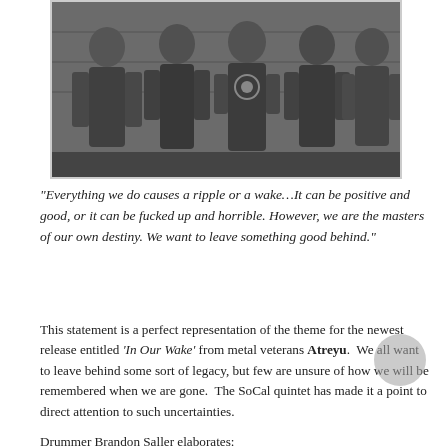[Figure (photo): Black and white photo of band members (Atreyu) posing together, multiple people standing side by side.]
“Everything we do causes a ripple or a wake…It can be positive and good, or it can be fucked up and horrible. However, we are the masters of our own destiny. We want to leave something good behind.”
This statement is a perfect representation of the theme for the newest release entitled ‘In Our Wake’ from metal veterans Atreyu.  We all want to leave behind some sort of legacy, but few are unsure of how we will be remembered when we are gone.  The SoCal quintet has made it a point to direct attention to such uncertainties.
Drummer Brandon Saller elaborates: